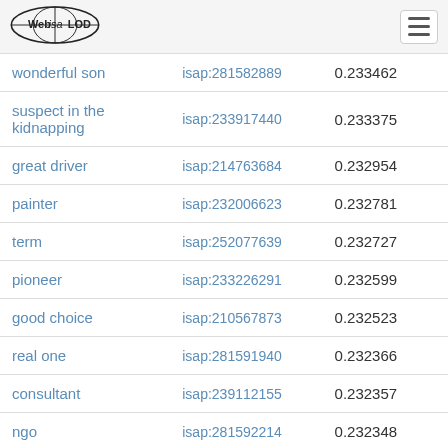Web isa LOD
| label | isap | score |
| --- | --- | --- |
| wonderful son | isap:281582889 | 0.233462 |
| suspect in the kidnapping | isap:233917440 | 0.233375 |
| great driver | isap:214763684 | 0.232954 |
| painter | isap:232006623 | 0.232781 |
| term | isap:252077639 | 0.232727 |
| pioneer | isap:233226291 | 0.232599 |
| good choice | isap:210567873 | 0.232523 |
| real one | isap:281591940 | 0.232366 |
| consultant | isap:239112155 | 0.232357 |
| ngo | isap:281592214 | 0.232348 |
| high school | isap:209713087 | 0.232327 |